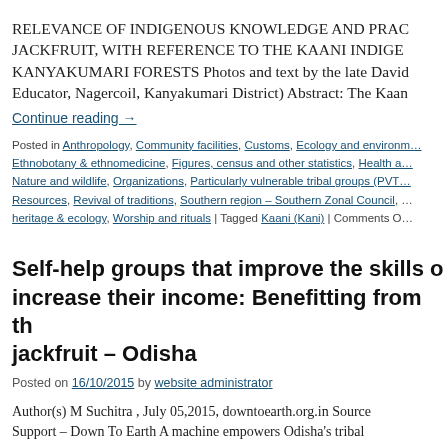RELEVANCE OF INDIGENOUS KNOWLEDGE AND PRACTICES ON JACKFRUIT, WITH REFERENCE TO THE KAANI INDIGENOUS PEOPLE OF KANYAKUMARI FORESTS Photos and text by the late David… Educator, Nagercoil, Kanyakumari District) Abstract: The Kaani…
Continue reading →
Posted in Anthropology, Community facilities, Customs, Ecology and environment, Ethnobotany & ethnomedicine, Figures, census and other statistics, Health and…, Nature and wildlife, Organizations, Particularly vulnerable tribal groups (PVTGs),…Resources, Revival of traditions, Southern region – Southern Zonal Council, …heritage & ecology, Worship and rituals | Tagged Kaani (Kani) | Comments O…
Self-help groups that improve the skills of women and increase their income: Benefitting from the use of jackfruit – Odisha
Posted on 16/10/2015 by website administrator
Author(s) M Suchitra , July 05,2015, downtoearth.org.in Source… Support – Down To Earth A machine empowers Odisha's tribal…